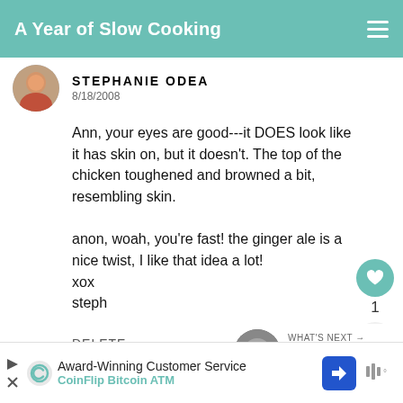A Year of Slow Cooking
STEPHANIE ODEA
8/18/2008
Ann, your eyes are good---it DOES look like it has skin on, but it doesn't. The top of the chicken toughened and browned a bit, resembling skin.

anon, woah, you're fast! the ginger ale is a nice twist, I like that idea a lot!
xox
steph
DELETE
WHAT'S NEXT → CrockPot Tortilla Soup...
Award-Winning Customer Service
CoinFlip Bitcoin ATM